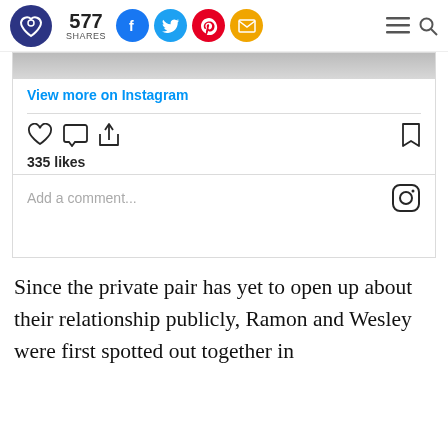577 SHARES [social icons: Facebook, Twitter, Pinterest, Email] [menu] [search]
[Figure (screenshot): Instagram embed showing: 'View more on Instagram' link, heart/comment/share icons, 335 likes, 'Add a comment...' input with Instagram logo]
Since the private pair has yet to open up about their relationship publicly, Ramon and Wesley were first spotted out together in